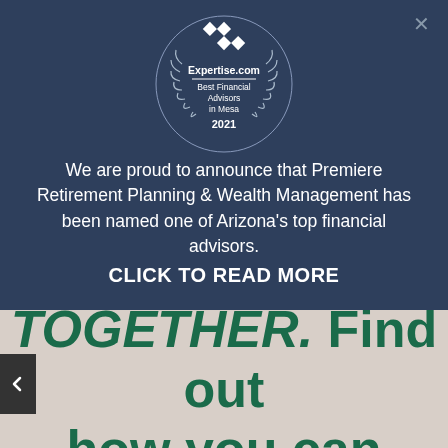[Figure (logo): Expertise.com badge — Best Financial Advisors in Mesa 2021, circular badge with laurel wreath and diamond logo]
We are proud to announce that Premiere Retirement Planning & Wealth Management has been named one of Arizona's top financial advisors.
CLICK TO READ MORE
TOGETHER. Find out how you can help make a positive impact on your community. Explore our Stronger